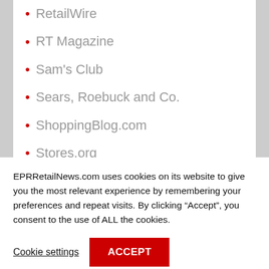RetailWire
RT Magazine
Sam's Club
Sears, Roebuck and Co.
ShoppingBlog.com
Stores.org
Strange New Products
Stylehive
EPRRetailNews.com uses cookies on its website to give you the most relevant experience by remembering your preferences and repeat visits. By clicking “Accept”, you consent to the use of ALL the cookies.
Cookie settings
ACCEPT